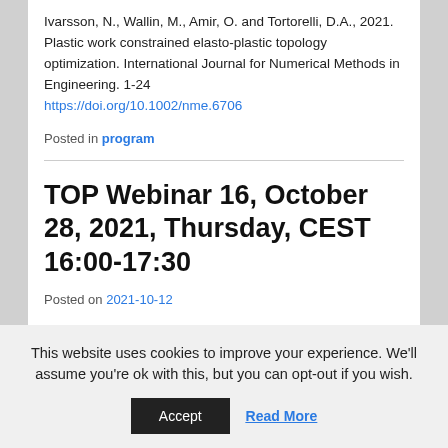Ivarsson, N., Wallin, M., Amir, O. and Tortorelli, D.A., 2021. Plastic work constrained elasto-plastic topology optimization. International Journal for Numerical Methods in Engineering. 1-24 https://doi.org/10.1002/nme.6706
Posted in program
TOP Webinar 16, October 28, 2021, Thursday, CEST 16:00-17:30
Posted on 2021-10-12
This website uses cookies to improve your experience. We'll assume you're ok with this, but you can opt-out if you wish.